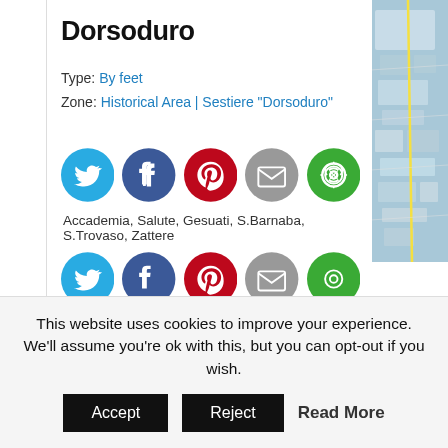Dorsoduro
Type: By feet
Zone: Historical Area | Sestiere "Dorsoduro"
[Figure (other): Map corner image showing Venice streets/canals]
[Figure (other): Social media share buttons row 1: Twitter, Facebook, Pinterest, Email, Share]
Accademia, Salute, Gesuati, S.Barnaba, S.Trovaso, Zattere
[Figure (other): Social media share buttons row 2: Twitter, Facebook, Pinterest, Email, Share]
This website uses cookies to improve your experience. We'll assume you're ok with this, but you can opt-out if you wish.
Accept  Reject  Read More